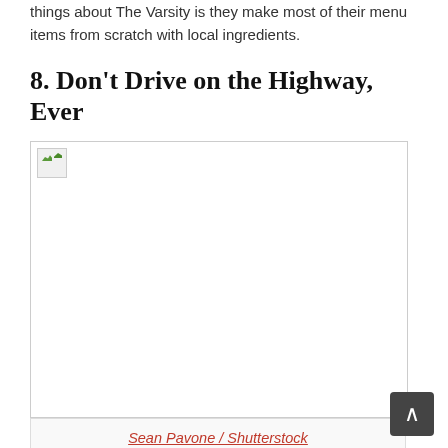things about The Varsity is they make most of their menu items from scratch with local ingredients.
8. Don't Drive on the Highway, Ever
[Figure (photo): A broken/missing image placeholder with a small thumbnail icon in the top-left corner, representing a photo of a highway scene.]
Sean Pavone / Shutterstock
In other cities, highways are used to get around quickly